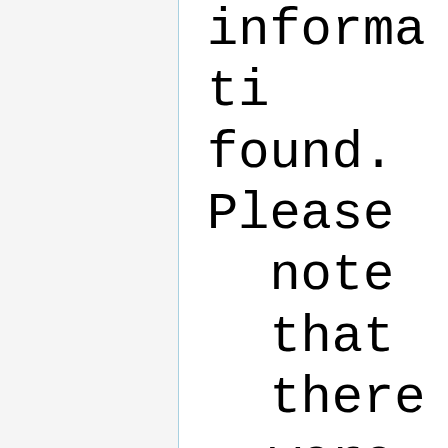informati
found.
Please
  note
  that
  there
  were,
    and
    still